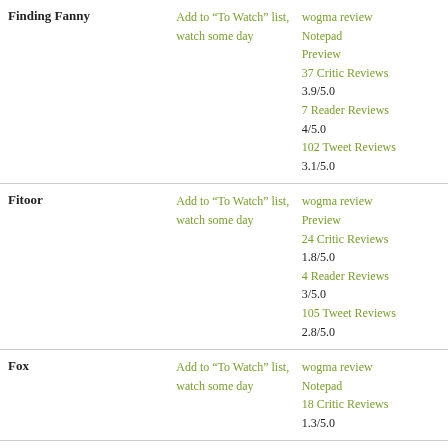| Movie | Action | Reviews |
| --- | --- | --- |
| Finding Fanny | Add to “To Watch” list, watch some day | wogma review
Notepad
Preview
37 Critic Reviews
3.9/5.0
7 Reader Reviews
4/5.0
102 Tweet Reviews
3.1/5.0 |
| Fitoor | Add to “To Watch” list, watch some day | wogma review
Preview
24 Critic Reviews
1.8/5.0
4 Reader Reviews
3/5.0
105 Tweet Reviews
2.8/5.0 |
| Fox | Add to “To Watch” list, watch some day | wogma review
Notepad
18 Critic Reviews
1.3/5.0 |
| Friends With Benefits | Add to “To Watch” list, watch some day | wogma review |
| Fukrey | Add to “To Watch” list, watch some day | wogma review
34 Critic Reviews
3.2/5.0
2 Reader Reviews |